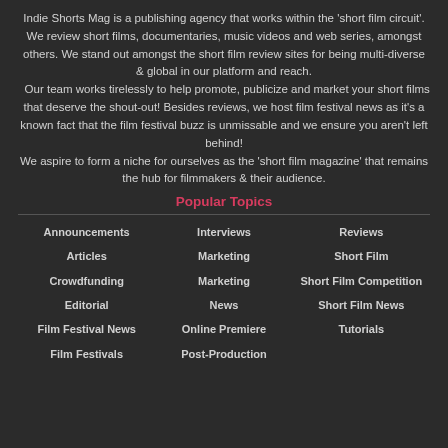Indie Shorts Mag is a publishing agency that works within the 'short film circuit'. We review short films, documentaries, music videos and web series, amongst others. We stand out amongst the short film review sites for being multi-diverse & global in our platform and reach.
Our team works tirelessly to help promote, publicize and market your short films that deserve the shout-out! Besides reviews, we host film festival news as it's a known fact that the film festival buzz is unmissable and we ensure you aren't left behind!
We aspire to form a niche for ourselves as the 'short film magazine' that remains the hub for filmmakers & their audience.
Popular Topics
Announcements
Interviews
Reviews
Articles
Marketing
Short Film
Crowdfunding
Marketing
Short Film Competition
Editorial
News
Short Film News
Film Festival News
Online Premiere
Tutorials
Film Festivals
Post-Production